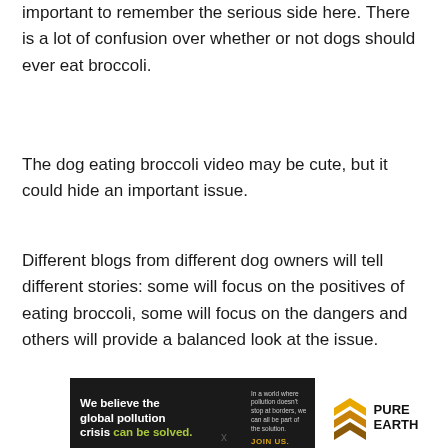important to remember the serious side here. There is a lot of confusion over whether or not dogs should ever eat broccoli.
The dog eating broccoli video may be cute, but it could hide an important issue.
Different blogs from different dog owners will tell different stories: some will focus on the positives of eating broccoli, some will focus on the dangers and others will provide a balanced look at the issue.
[Figure (infographic): Pure Earth advertisement banner. Black background with white bold text: 'We believe the global pollution crisis can be solved.' (with 'can be solved.' in green/yellow-green). Right side has small white text: 'In a world where pollution doesn't stop at borders, we can all be part of the solution.' and yellow 'JOIN US.' The Pure Earth logo (diamond/chevron shape in gold/yellow) appears on white background on far right alongside bold text 'PURE EARTH'.]
x